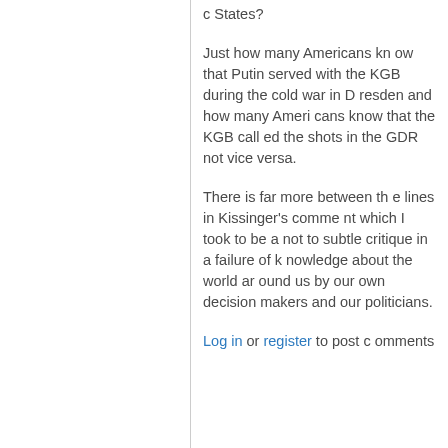Russia, in Poland or the Baltic States?
Just how many Americans know that Putin served with the KGB during the cold war in Dresden and how many Americans know that the KGB called the shots in the GDR not vice versa.
There is far more between the lines in Kissinger's comment which I took to be a not to subtle critique in a failure of knowledge about the world around us by our own decision makers and our politicians.
Log in or register to post comments